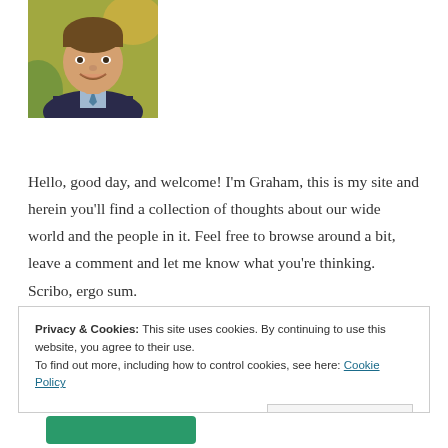[Figure (photo): Headshot photo of a smiling man in a suit jacket against a green background]
Hello, good day, and welcome! I'm Graham, this is my site and herein you'll find a collection of thoughts about our wide world and the people in it. Feel free to browse around a bit, leave a comment and let me know what you're thinking. Scribo, ergo sum.
Privacy & Cookies: This site uses cookies. By continuing to use this website, you agree to their use.
To find out more, including how to control cookies, see here: Cookie Policy
Close and accept